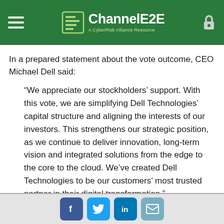ChannelE2E – A CyberRisk Alliance Resource
In a prepared statement about the vote outcome, CEO Michael Dell said:
“We appreciate our stockholders’ support. With this vote, we are simplifying Dell Technologies’ capital structure and aligning the interests of our investors. This strengthens our strategic position, as we continue to deliver innovation, long-term vision and integrated solutions from the edge to the core to the cloud. We’ve created Dell Technologies to be our customers’ most trusted partner in their digital transformation.”
Social share buttons: Facebook, Twitter, LinkedIn, Email